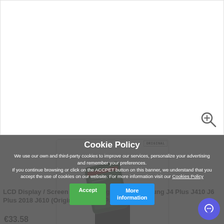[Figure (photo): Main product image area showing LCD screen for Samsung phone, white background with zoom icon]
[Figure (photo): Thumbnail image of Samsung J4 Plus / J6 Plus LCD display and touch screen assembly with ORIGINAL badge]
LCD Display / Screen Touch - Original For Samsung J4 Plus J410 J6 Plus 2018 J610 (Original Service Pack)
€33.58
Cookie Policy
We use our own and third-party cookies to improve our services, personalize your advertising and remember your preferences.
If you continue browsing or click on the ACCPET button on this banner, we understand that you accept the use of cookies on our website. For more information visit our Cookies Policy